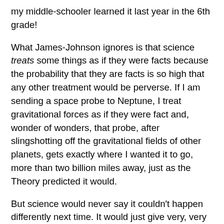my middle-schooler learned it last year in the 6th grade!
What James-Johnson ignores is that science treats some things as if they were facts because the probability that they are facts is so high that any other treatment would be perverse. If I am sending a space probe to Neptune, I treat gravitational forces as if they were fact and, wonder of wonders, that probe, after slingshotting off the gravitational fields of other planets, gets exactly where I wanted it to go, more than two billion miles away, just as the Theory predicted it would.
But science would never say it couldn't happen differently next time. It would just give very, very long odds against it, based on all the data available.
In this way, the odds against the young-earth crowd are very long. There are scores of observable phenomena pointing to an old earth. Each of these phenomena has to be rebutted in a way that makes sense. Currently, many of